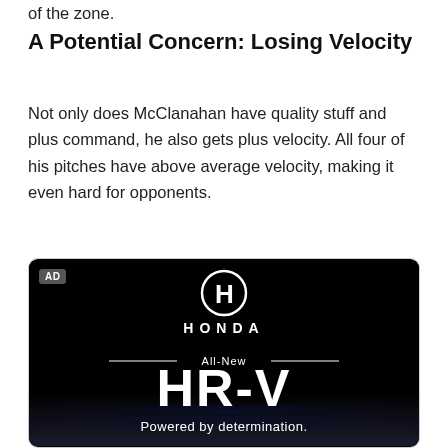of the zone.
A Potential Concern: Losing Velocity
Not only does McClanahan have quality stuff and plus command, he also gets plus velocity. All four of his pitches have above average velocity, making it even hard for opponents.
[Figure (other): Honda advertisement showing the Honda logo, 'All-New HR-V', and 'Powered by determination.' text on a black background with an 'AD' label.]